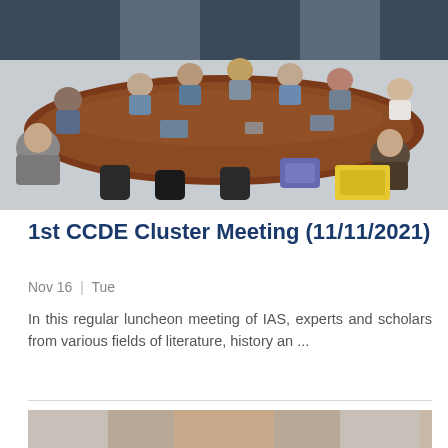[Figure (photo): Group of people seated around a large conference table in a meeting room, viewed from the side. Multiple participants with laptops and papers on the table.]
1st CCDE Cluster Meeting (11/11/2021)
Nov 16 | Tue
In this regular luncheon meeting of IAS, experts and scholars from various fields of literature, history an ...
[Figure (photo): Portrait photo of a person, partially visible at the bottom of the page.]